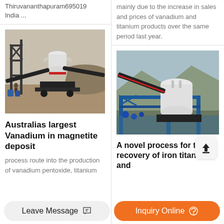Thiruvananthapuram695019 India ...
mainly due to the increase in sales and prices of vanadium and titanium products over the same period last year.
[Figure (photo): Industrial mining/crushing machine equipment outdoors on a rocky site]
Australias largest Vanadium in magnetite deposit
process route into the production of vanadium pentoxide, titanium
[Figure (photo): Industrial processing equipment with white tank and blue steel frame structure outdoors]
A novel process for the recovery of iron titanium and
Leave Message
Inquiry Online